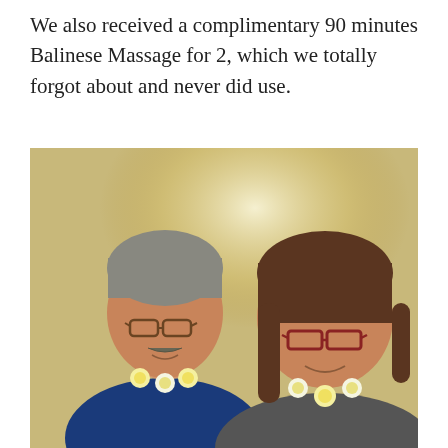We also received a complimentary 90 minutes Balinese Massage for 2, which we totally forgot about and never did use.
[Figure (photo): A selfie photo of two people — an older man with gray hair and glasses wearing a blue sweater and a floral lei, and a woman with brown hair and dark-rimmed glasses also wearing a floral lei. The background is a beige/gold wall with a glowing light.]